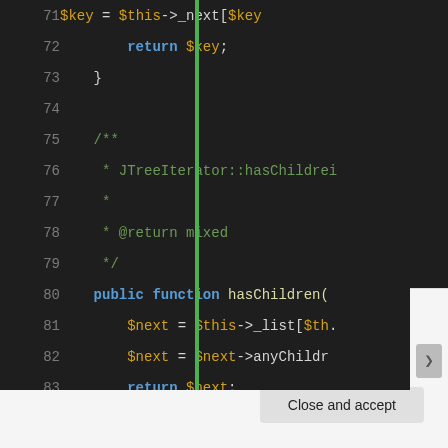[Figure (screenshot): PHP code editor screenshot showing lines 71-88 of a JTreeIterator class. Code includes $key = $this->_next[$key], return $key, closing brace, PHPDoc comment for hasChildren(), public function hasChildren() with $next assignments and return, closing brace, blank line, and start of PHPDoc for getChildren().]
Privacy & Cookies: This site uses cookies. By continuing to use this website, you agree to their use.
To find out more, including how to control cookies, see here: Cookie Policy